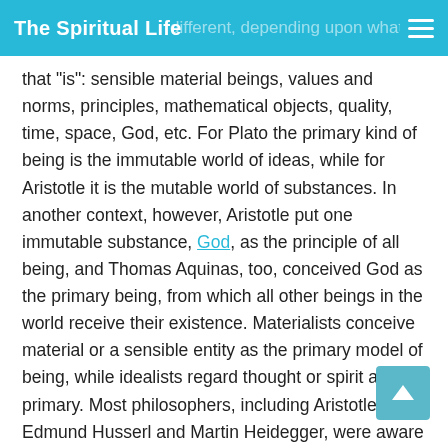The Spiritual Life
different, depending upon what it is that "is": sensible material beings, values and norms, principles, mathematical objects, quality, time, space, God, etc. For Plato the primary kind of being is the immutable world of ideas, while for Aristotle it is the mutable world of substances. In another context, however, Aristotle put one immutable substance, God, as the principle of all being, and Thomas Aquinas, too, conceived God as the primary being, from which all other beings in the world receive their existence. Materialists conceive material or a sensible entity as the primary model of being, while idealists regard thought or spirit as primary. Most philosophers, including Aristotle, Edmund Husserl and Martin Heidegger, were aware of these diverse senses of being.
Inquiries into being often contrast it with its reciprocal